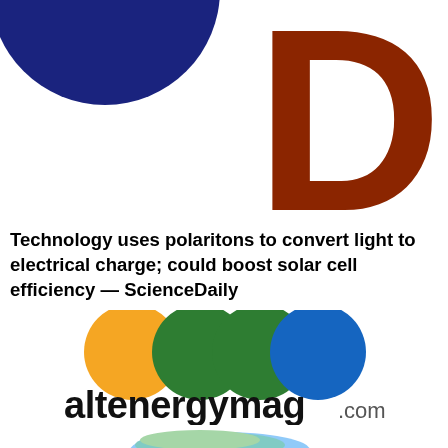[Figure (logo): Partial ScienceDaily logo: blue circle on left and brown/dark red letter D on right, partially cropped at top]
Technology uses polaritons to convert light to electrical charge; could boost solar cell efficiency — ScienceDaily
[Figure (logo): AltEnergyMag logo: three overlapping circles in orange, green, and blue above the text 'altenergymag.com']
[Figure (photo): Partial image at bottom showing colorful curved/layered material, partially cropped]